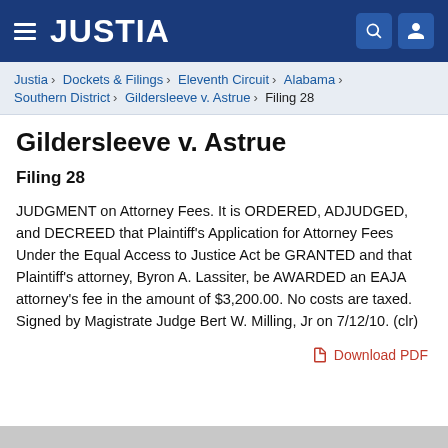JUSTIA
Justia › Dockets & Filings › Eleventh Circuit › Alabama › Southern District › Gildersleeve v. Astrue › Filing 28
Gildersleeve v. Astrue
Filing 28
JUDGMENT on Attorney Fees. It is ORDERED, ADJUDGED, and DECREED that Plaintiff's Application for Attorney Fees Under the Equal Access to Justice Act be GRANTED and that Plaintiff's attorney, Byron A. Lassiter, be AWARDED an EAJA attorney's fee in the amount of $3,200.00. No costs are taxed. Signed by Magistrate Judge Bert W. Milling, Jr on 7/12/10. (clr)
Download PDF